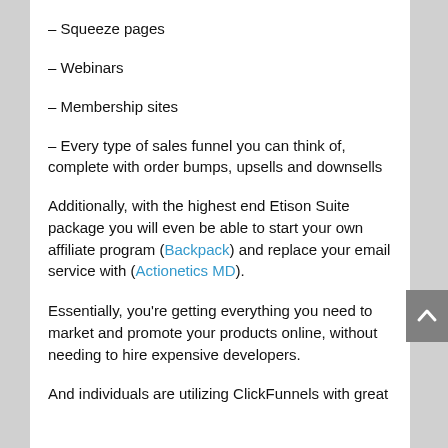– Squeeze pages
– Webinars
– Membership sites
– Every type of sales funnel you can think of, complete with order bumps, upsells and downsells
Additionally, with the highest end Etison Suite package you will even be able to start your own affiliate program (Backpack) and replace your email service with (Actionetics MD).
Essentially, you're getting everything you need to market and promote your products online, without needing to hire expensive developers.
And individuals are utilizing ClickFunnels with great